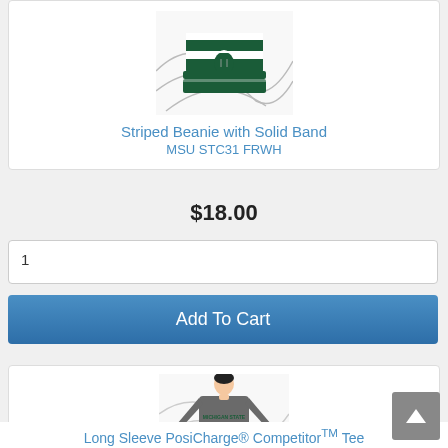[Figure (photo): Striped Beanie with Solid Band product photo showing green and white striped beanie with MSU Spartan logo on dark abstract background]
Striped Beanie with Solid Band
MSU STC31 FRWH
$18.00
1
Add To Cart
[Figure (photo): Long Sleeve PosiCharge Competitor Tee product photo showing man wearing grey long sleeve shirt with Michigan State Spartans logo]
Long Sleeve PosiCharge® CompetitorTM Tee